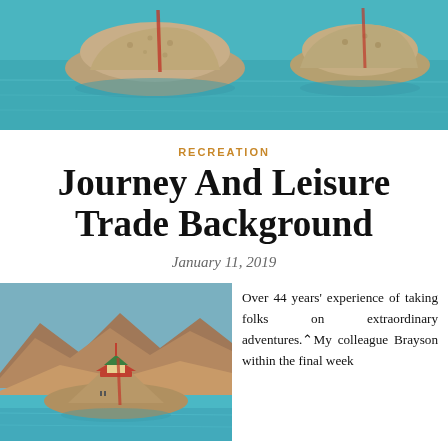[Figure (photo): Aerial or close-up photo of rocky island formations in turquoise/teal water]
RECREATION
Journey And Leisure Trade Background
January 11, 2019
[Figure (photo): A scenic lake with a small rocky island topped by a red and green pagoda-style structure, surrounded by turquoise water with arid mountains in the background]
Over 44 years' experience of taking folks on extraordinary adventures. My colleague Brayson within the final week